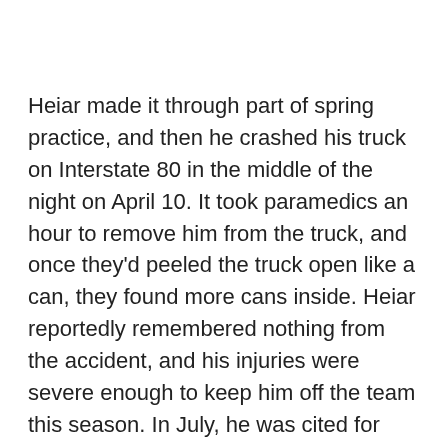Heiar made it through part of spring practice, and then he crashed his truck on Interstate 80 in the middle of the night on April 10. It took paramedics an hour to remove him from the truck, and once they'd peeled the truck open like a can, they found more cans inside. Heiar reportedly remembered nothing from the accident, and his injuries were severe enough to keep him off the team this season. In July, he was cited for DUI in connection with the accident, and today's news became inevitable.
There's no word yet on where Heiar might be going, but it's apparently going to happen in a couple of